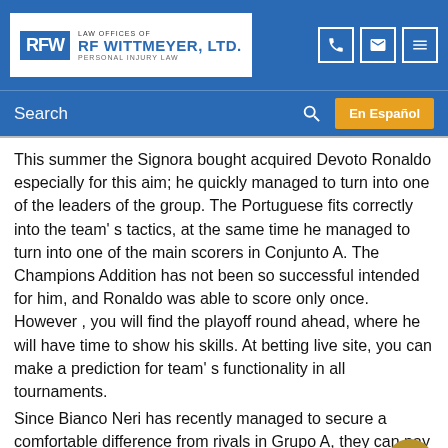LAW OFFICES OF RF WITTMEYER, LTD. PERSONAL INJURY LAW
This summer the Signora bought acquired Devoto Ronaldo especially for this aim; he quickly managed to turn into one of the leaders of the group. The Portuguese fits correctly into the team' s tactics, at the same time he managed to turn into one of the main scorers in Conjunto A. The Champions Addition has not been so successful intended for him, and Ronaldo was able to score only once. However , you will find the playoff round ahead, where he will have time to show his skills. At betting live site, you can make a prediction for team' s functionality in all tournaments.
Since Bianco Neri has recently managed to secure a comfortable difference from rivals in Grupo A, they can pay much more attention to the Champions Category.